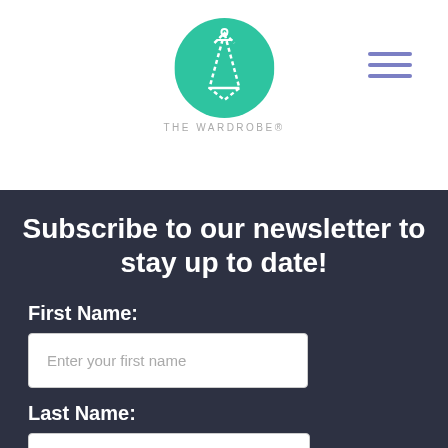[Figure (logo): The Wardrobe logo: a green circle with a white zipper/hanger icon and text 'THE WARDROBE' below]
[Figure (other): Hamburger menu icon with three horizontal blue-purple lines]
Subscribe to our newsletter to stay up to date!
First Name:
Enter your first name
Last Name: